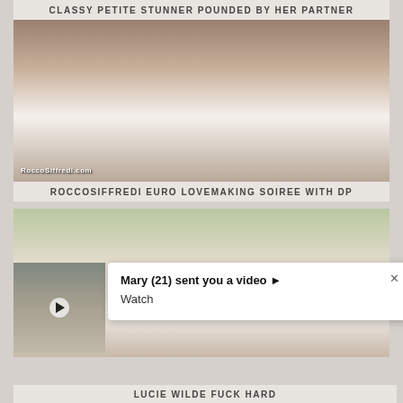CLASSY PETITE STUNNER POUNDED BY HER PARTNER
[Figure (photo): Video thumbnail showing group scene with watermark RoccoSiffredi.com]
ROCCOSIFFREDI EURO LOVEMAKING SOIREE WITH DP
[Figure (photo): Video thumbnail showing couple embracing outdoors]
[Figure (photo): Small video thumbnail with play button overlay]
Mary (21) sent you a video ▶ Watch
LUCIE WILDE FUCK HARD